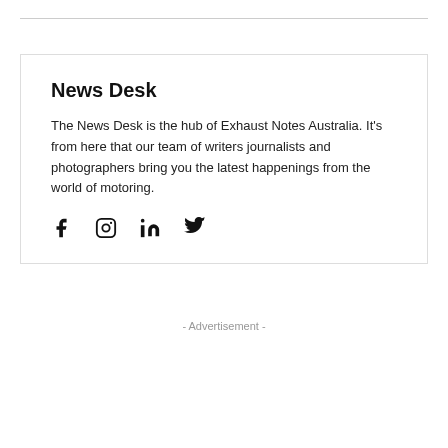News Desk
The News Desk is the hub of Exhaust Notes Australia. It's from here that our team of writers journalists and photographers bring you the latest happenings from the world of motoring.
[Figure (other): Social media icons: Facebook, Instagram, LinkedIn, Twitter]
- Advertisement -